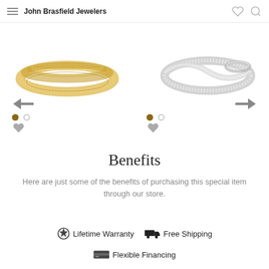John Brasfield Jewelers
[Figure (photo): Two jewelry ring product images side by side — left: gold diamond band, right: white gold/platinum diamond band with navigation arrows and carousel dots]
Benefits
Here are just some of the benefits of purchasing this special item through our store.
Lifetime Warranty
Free Shipping
Flexible Financing